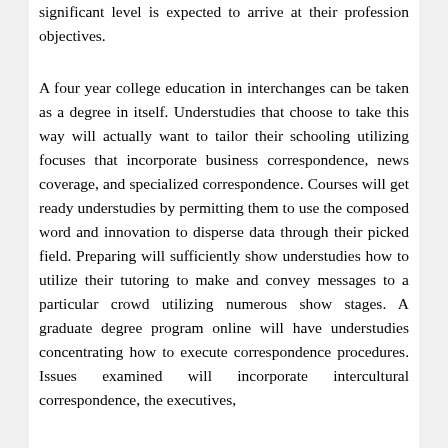significant level is expected to arrive at their profession objectives.
A four year college education in interchanges can be taken as a degree in itself. Understudies that choose to take this way will actually want to tailor their schooling utilizing focuses that incorporate business correspondence, news coverage, and specialized correspondence. Courses will get ready understudies by permitting them to use the composed word and innovation to disperse data through their picked field. Preparing will sufficiently show understudies how to utilize their tutoring to make and convey messages to a particular crowd utilizing numerous show stages. A graduate degree program online will have understudies concentrating how to execute correspondence procedures. Issues examined will incorporate intercultural correspondence, the executives,